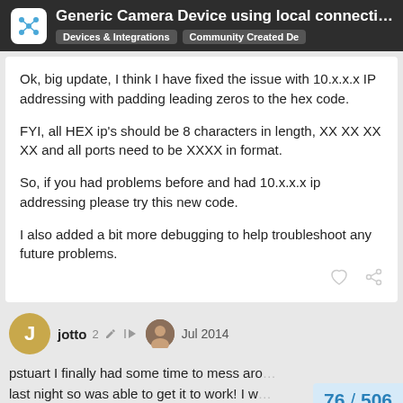Generic Camera Device using local connecti... | Devices & Integrations | Community Created De
Ok, big update, I think I have fixed the issue with 10.x.x.x IP addressing with padding leading zeros to the hex code.

FYI, all HEX ip's should be 8 characters in length, XX XX XX XX and all ports need to be XXXX in format.

So, if you had problems before and had 10.x.x.x ip addressing please try this new code.

I also added a bit more debugging to help troubleshoot any future problems.
jotto  2  Jul 2014
pstuart I finally had some time to mess aro... last night so was able to get it to work! I w...
76 / 506